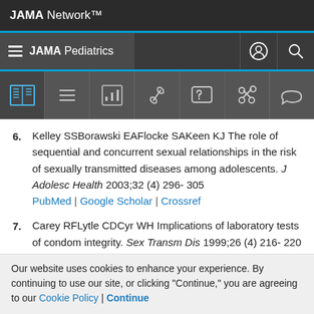JAMA Network
JAMA Pediatrics
6. Kelley SSBorawski EAFlocke SAKeen KJ The role of sequential and concurrent sexual relationships in the risk of sexually transmitted diseases among adolescents. J Adolesc Health 2003;32 (4) 296- 305 PubMed | Google Scholar | Crossref
7. Carey RFLytle CDCyr WH Implications of laboratory tests of condom integrity. Sex Transm Dis 1999;26 (4) 216- 220
Our website uses cookies to enhance your experience. By continuing to use our site, or clicking "Continue," you are agreeing to our Cookie Policy | Continue